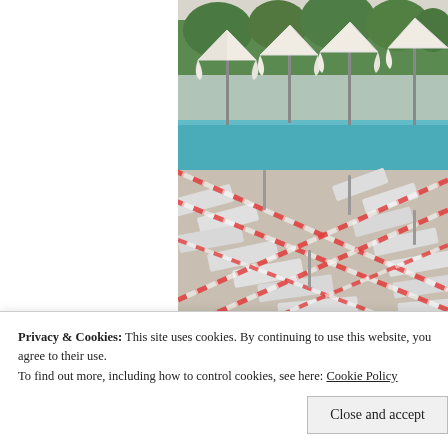[Figure (photo): Pool area with white lounge chairs and closed white beach umbrellas. Red and white striped barrier tape criss-crosses over the sun loungers near a blue swimming pool, with green trees and a modern building in the background.]
Privacy & Cookies: This site uses cookies. By continuing to use this website, you agree to their use.
To find out more, including how to control cookies, see here: Cookie Policy
Close and accept